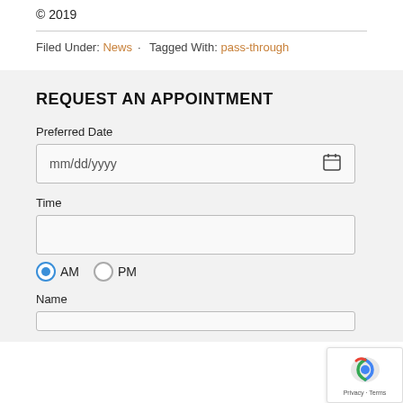© 2019
Filed Under: News · Tagged With: pass-through
REQUEST AN APPOINTMENT
Preferred Date
mm/dd/yyyy
Time
AM  PM
Name